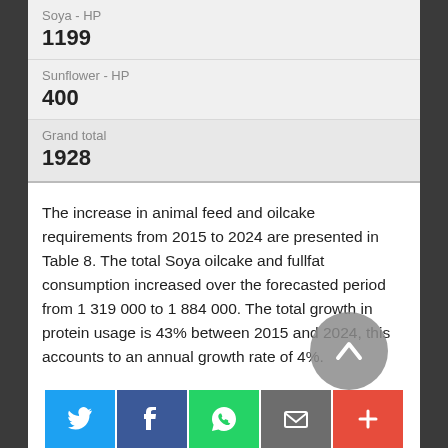| Soya - HP | 1199 |
| Sunflower - HP | 400 |
| Grand total | 1928 |
The increase in animal feed and oilcake requirements from 2015 to 2024 are presented in Table 8. The total Soya oilcake and fullfat consumption increased over the forecasted period from 1 319 000 to 1 884 000. The total growth in protein usage is 43% between 2015 and 2024, this accounts to an annual growth rate of 4%.
Table 8: Increase in animal feed and oilcake requirements from 2015 to 2024